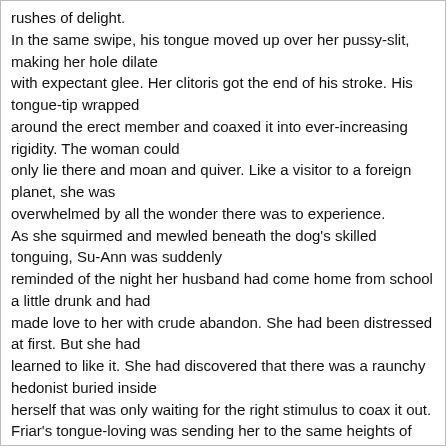rushes of delight.
In the same swipe, his tongue moved up over her pussy-slit, making her hole dilate
with expectant glee. Her clitoris got the end of his stroke. His tongue-tip wrapped
around the erect member and coaxed it into ever-increasing rigidity. The woman could
only lie there and moan and quiver. Like a visitor to a foreign planet, she was
overwhelmed by all the wonder there was to experience.
As she squirmed and mewled beneath the dog's skilled tonguing, Su-Ann was suddenly
reminded of the night her husband had come home from school a little drunk and had
made love to her with crude abandon. She had been distressed at first. But she had
learned to like it. She had discovered that there was a raunchy hedonist buried inside
herself that was only waiting for the right stimulus to coax it out.
Friar's tongue-loving was sending her to the same heights of self-indulgence that she
had met that night. She had an intense urgent need to work out the ya-ya's hidden deep
in her soul, work them out no matter what the cost or what the result. She felt reckless
in her lust. She felt like a stranger to herself - a newborn woman of pleasure. "God,
Friar, your tongue feels so good, baby! Oh yes, lick my asshole! Lick me everywhere! I
love it!"